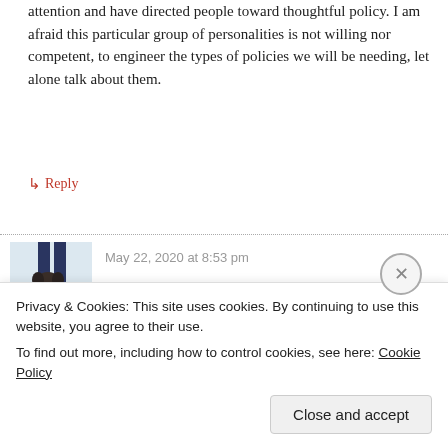attention and have directed people toward thoughtful policy. I am afraid this particular group of personalities is not willing nor competent, to engineer the types of policies we will be needing, let alone talk about them.
↳ Reply
May 22, 2020 at 8:53 pm
[Figure (photo): Avatar photo of a dark-colored dog (appears to be a French Bulldog or similar breed) standing in snow, with a person's legs visible behind it.]
Fascinating comment Tom!
Privacy & Cookies: This site uses cookies. By continuing to use this website, you agree to their use. To find out more, including how to control cookies, see here: Cookie Policy
Close and accept